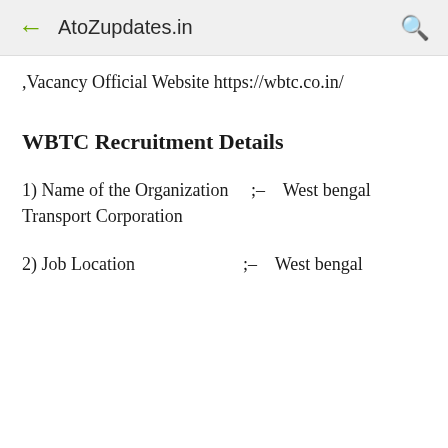← AtoZupdates.in 🔍
,Vacancy Official Website https://wbtc.co.in/
WBTC Recruitment Details
1) Name of the Organization     ;-    West bengal Transport Corporation
2) Job Location                           ;-    West bengal